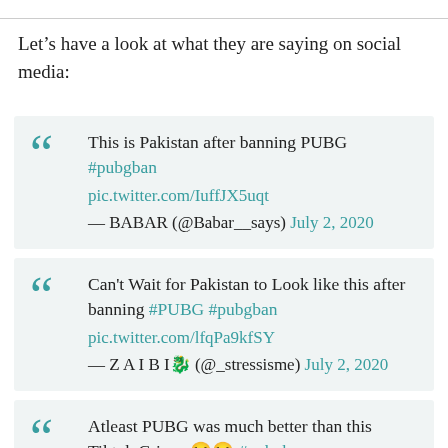Let’s have a look at what they are saying on social media:
This is Pakistan after banning PUBG #pubgban pic.twitter.com/IuffJX5uqt — BABAR (@Babar__says) July 2, 2020
Can't Wait for Pakistan to Look like this after banning #PUBG #pubgban pic.twitter.com/lfqPa9kfSY — Z A I B I🐉 (@_stressisme) July 2, 2020
Atleast PUBG was much better than this Tiktok Cringe 😒😒 #pubgban